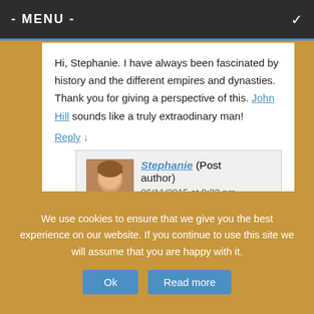- MENU -
Hi, Stephanie. I have always been fascinated by history and the different empires and dynasties. Thank you for giving a perspective of this. John Hill sounds like a truly extraodinary man!
Reply ↓
Stephanie (Post author)
06/11/2015 at 9:33 pm
Hi Jean:
We use cookies to ensure that we give you the best experience on our website. If you continue to use this site we will assume that you are happy with it.